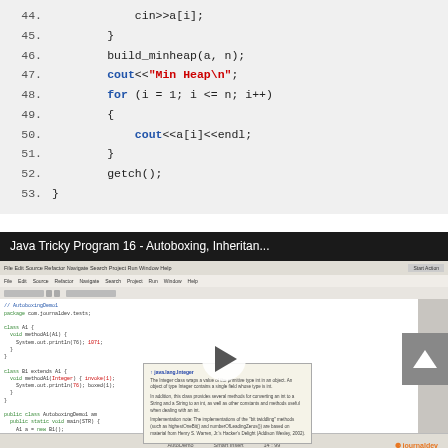[Figure (screenshot): Code snippet showing C++ lines 44-53: cin>>a[i], build_minheap(a, n), cout<<'Min Heap
', for loop printing heap elements, getch(), closing brace]
[Figure (screenshot): Video thumbnail for 'Java Tricky Program 16 - Autoboxing, Inheritan...' showing an IDE with Java code and a tooltip about java.lang.Integer, with a play button overlay and JournalDev logo]